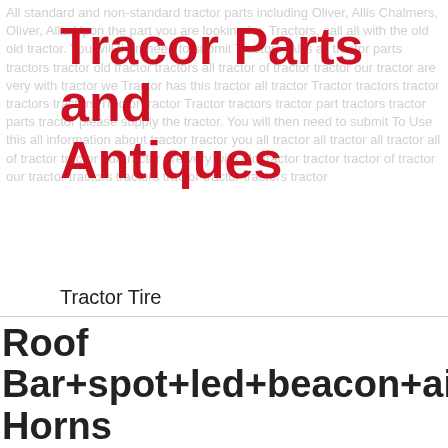Tracor Parts and Antiques
Tractor Tire
Tractor Part
Antique Tractor
Massey Ferguson Tractor
John Deere Tractor
Farm Tractor
Customer. The Customer Must Inform Us Of Any Returns Within 1 Working Days Of Receipt Of Goods. Please Check Goods Upon.
Roof Bar+spot+led+beacon+air Horns